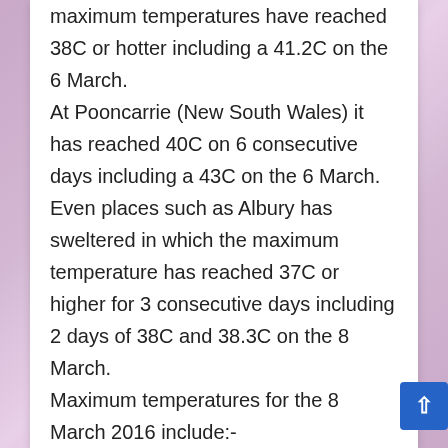maximum temperatures have reached 38C or hotter including a 41.2C on the 6 March. At Pooncarrie (New South Wales) it has reached 40C on 6 consecutive days including a 43C on the 6 March. Even places such as Albury has sweltered in which the maximum temperature has reached 37C or higher for 3 consecutive days including 2 days of 38C and 38.3C on the 8 March. Maximum temperatures for the 8 March 2016 include:-